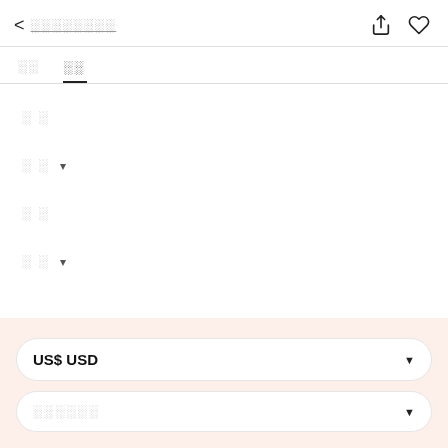< ░░░░░░░░
░░  ░░
░ ░
░ ░  ▾
░ ░
░ ░  ▾
US$ USD
░░░░░░